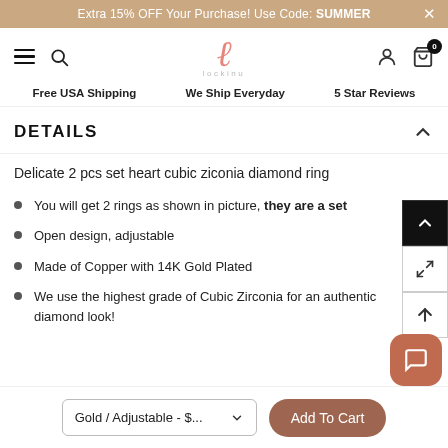Extra 15% OFF Your Purchase! Use Code: SUMMER
[Figure (logo): Lockinu script logo in coral/pink with 'lockinu' text below]
Free USA Shipping   We Ship Everyday   5 Star Reviews
DETAILS
Delicate 2 pcs set heart cubic ziconia diamond ring
You will get 2 rings as shown in picture, they are a set
Open design, adjustable
Made of Copper with 14K Gold Plated
We use the highest grade of Cubic Zirconia for an authentic diamond look!
Gold / Adjustable - $...
Add To Cart